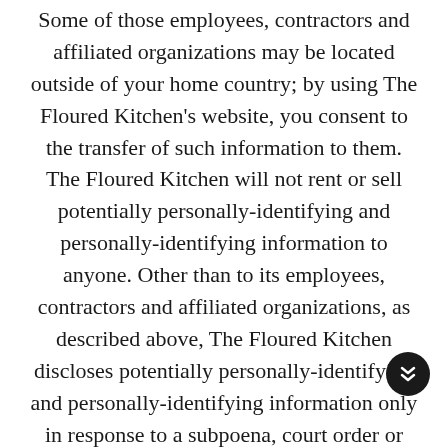Some of those employees, contractors and affiliated organizations may be located outside of your home country; by using The Floured Kitchen's website, you consent to the transfer of such information to them. The Floured Kitchen will not rent or sell potentially personally-identifying and personally-identifying information to anyone. Other than to its employees, contractors and affiliated organizations, as described above, The Floured Kitchen discloses potentially personally-identifying and personally-identifying information only in response to a subpoena, court order or other governmental request, when The Floured Kitchen believes in good faith that disclosure is reasonably necessary to